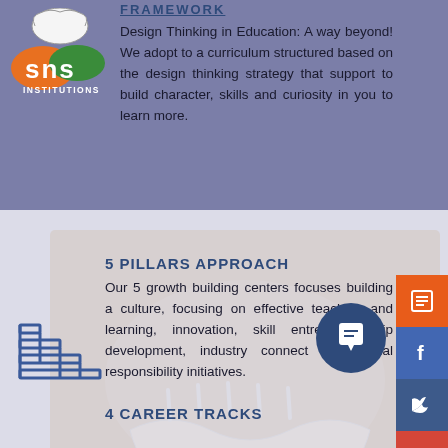[Figure (logo): SNS Institutions logo with brain and orange/green design]
FRAMEWORK
Design Thinking in Education: A way beyond! We adopt to a curriculum structured based on the design thinking strategy that support to build character, skills and curiosity in you to learn more.
[Figure (illustration): Foot/hand skeleton anatomical image as background]
[Figure (illustration): Staircase steps line icon]
5 PILLARS APPROACH
Our 5 growth building centers focuses building a culture, focusing on effective teaching and learning, innovation, skill entrepreneurship development, industry connect and social responsibility initiatives.
4 CAREER TRACKS
[Figure (infographic): Social media sidebar icons: list/form (orange), Facebook (blue), Twitter (dark blue), Google (red), Instagram (dark blue)]
[Figure (illustration): Chat bubble circle button in dark navy blue]